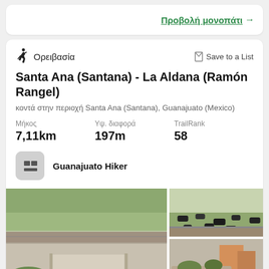Προβολή μονοπάτι →
Ορειβασία
Save to a List
Santa Ana (Santana) - La Aldana (Ramón Rangel)
κοντά στην περιοχή Santa Ana (Santana), Guanajuato (Mexico)
Μήκος 7,11km
Υψ. διαφορά 197m
TrailRank 58
Guanajuato Hiker
[Figure (photo): Bridge and road in Guanajuato landscape]
[Figure (photo): Cattle grazing in a field]
[Figure (photo): Rural scene with water trough and buildings]